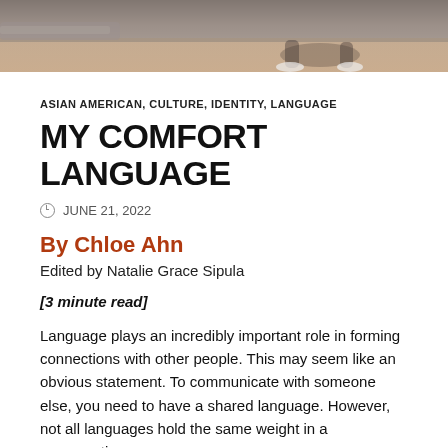[Figure (photo): Cropped photo of a person sitting on a wooden floor, legs crossed, wearing casual shoes, with a gray surface/wall in the background]
ASIAN AMERICAN, CULTURE, IDENTITY, LANGUAGE
MY COMFORT LANGUAGE
JUNE 21, 2022
By Chloe Ahn
Edited by Natalie Grace Sipula
[3 minute read]
Language plays an incredibly important role in forming connections with other people. This may seem like an obvious statement. To communicate with someone else, you need to have a shared language. However, not all languages hold the same weight in a conversation.
A person's first language is not always the one they may